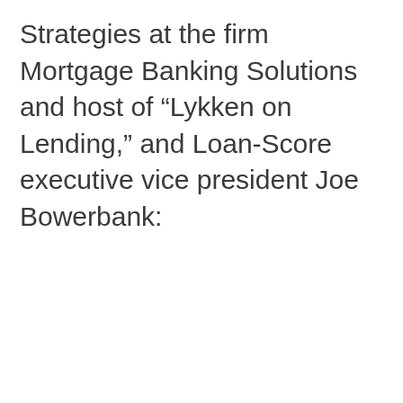Strategies at the firm Mortgage Banking Solutions and host of “Lykken on Lending,” and Loan-Score executive vice president Joe Bowerbank: